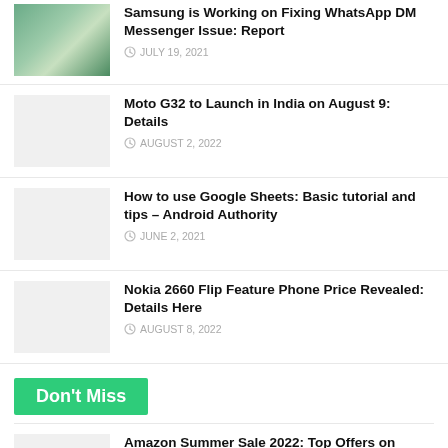Samsung is Working on Fixing WhatsApp DM Messenger Issue: Report — JULY 19, 2021
Moto G32 to Launch in India on August 9: Details — AUGUST 2, 2022
How to use Google Sheets: Basic tutorial and tips – Android Authority — JUNE 2, 2021
Nokia 2660 Flip Feature Phone Price Revealed: Details Here — AUGUST 8, 2022
Don't Miss
Amazon Summer Sale 2022: Top Offers on Phones, Electronics